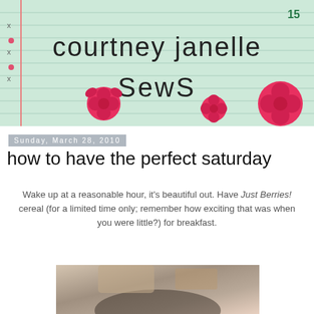[Figure (illustration): Blog header banner on lined green notebook paper background with pink roses and handwritten-style text reading 'courtney janelle SEWS', with page number 15 in green and margin marks (x, dot, x, dot, x) on the left]
Sunday, March 28, 2010
how to have the perfect saturday
Wake up at a reasonable hour, it's beautiful out. Have Just Berries! cereal (for a limited time only; remember how exciting that was when you were little?) for breakfast.
[Figure (photo): Partial photo showing interior of a car, with a person visible]